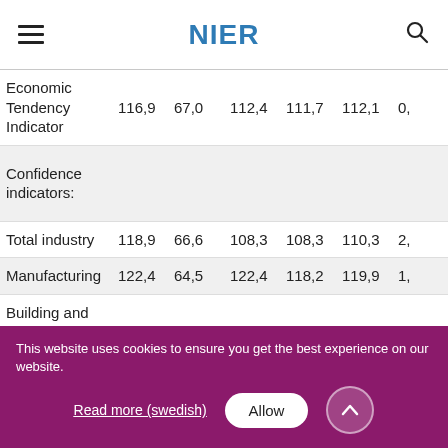NIER
|  |  |  |  |  |  |  |
| --- | --- | --- | --- | --- | --- | --- |
| Economic Tendency Indicator | 116,9 | 67,0 | 112,4 | 111,7 | 112,1 | 0, |
| Confidence indicators: |  |  |  |  |  |  |
| Total industry | 118,9 | 66,6 | 108,3 | 108,3 | 110,3 | 2, |
| Manufacturing | 122,4 | 64,5 | 122,4 | 118,2 | 119,9 | 1, |
| Building and civil engineering | 121,5 | 78,8 | 111,1 | 114,2 | 112,1 | -2 |
This website uses cookies to ensure you get the best experience on our website.
Read more (swedish)
Allow